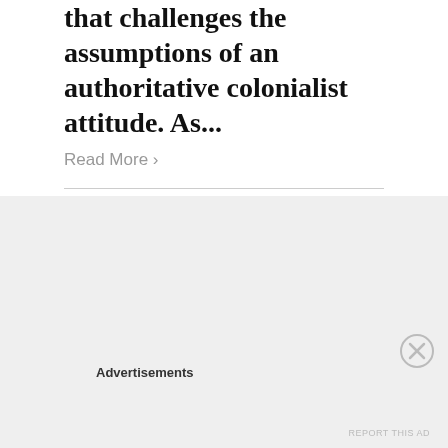that challenges the assumptions of an authoritative colonialist attitude. As...
Read More ›
Advertisements
REPORT THIS AD